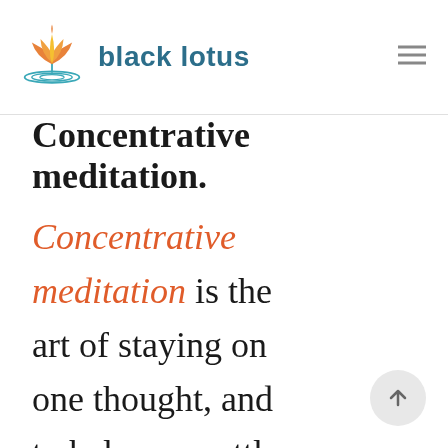black lotus
Concentrative meditation.
Concentrative meditation is the art of staying on one thought, and to help you settle your mind and still your body.